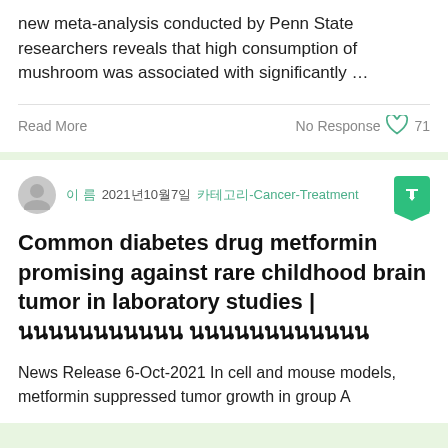new meta-analysis conducted by Penn State researchers reveals that high consumption of mushroom was associated with significantly …
Read More
No Response  71
이름  2021년10월7일  카테고리-Cancer-Treatment
Common diabetes drug metformin promising against rare childhood brain tumor in laboratory studies | 태국의국립암센터는태국의 태국의국립암센터는
News Release 6-Oct-2021 In cell and mouse models, metformin suppressed tumor growth in group A